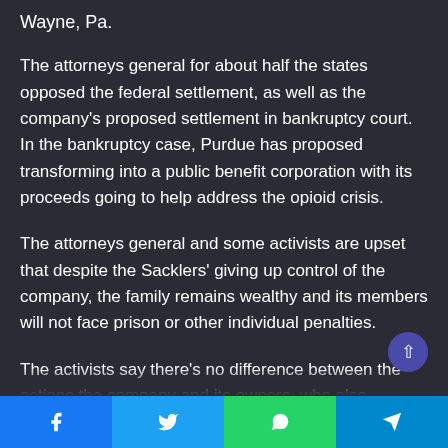Wayne, Pa.
The attorneys general for about half the states opposed the federal settlement, as well as the company's proposed settlement in bankruptcy court. In the bankruptcy case, Purdue has proposed transforming into a public benefit corporation with its proceeds going to help address the opioid crisis.
The attorneys general and some activists are upset that despite the Sacklers' giving up control of the company, the family remains wealthy and its members will not face prison or other individual penalties.
The activists say there’s no difference between the actions the company and its owners, who also controlled Purdue’s
Facebook | Twitter | WhatsApp | Telegram